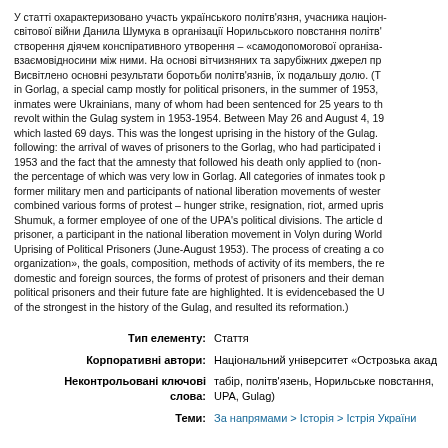У статті охарактеризовано участь українського політв'язня, учасника націо- світової війни Данила Шумука в організації Норильського повстання політв' створення діячем конспіративного утворення – «самодопомогової організа взаємовідносини між ними. На основі вітчизняних та зарубіжних джерел пр Висвітлено основні результати боротьби політв'язнів, їх подальшу долю. (The article deals with the Norilsk Uprising of Political Prisoners in Gorlag, a special camp mostly for political prisoners, in the summer of 1953, which lasted 69 days. This was the longest uprising in the history of the Gulag. Various categories of inmates took part, including former military men and participants of national liberation movements of western Ukraine. The article describes the role of Danylo Shumuk, a former employee of one of the UPA's political divisions. The process of creating a conspiratorial «self-help organization», the goals, composition, methods of activity of its members, the relations between them. On the basis of domestic and foreign sources, the forms of protest of prisoners and their demands are examined. The main results of the political prisoners and their future fate are highlighted. It is evidencebased the Uprising was one of the strongest in the history of the Gulag, and resulted its reformation.)
| Field | Value |
| --- | --- |
| Тип елементу: | Стаття |
| Корпоративні автори: | Національний університет «Острозька акад |
| Неконтрольовані ключові слова: | табір, політв'язень, Норильське повстання, UPA, Gulag) |
| Теми: | За напрямами > Історія > Істрія України |